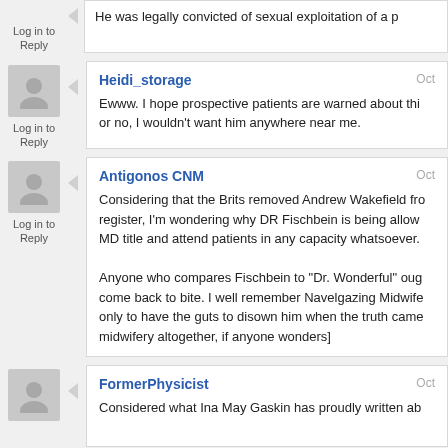He was legally convicted of sexual exploitation of a p
Log in to Reply
Heidi_storage — Ewww. I hope prospective patients are warned about thi or no, I wouldn't want him anywhere near me.
Log in to Reply
Antigonos CNM — Considering that the Brits removed Andrew Wakefield from register, I'm wondering why DR Fischbein is being allowed MD title and attend patients in any capacity whatsoever. Anyone who compares Fischbein to "Dr. Wonderful" oug come back to bite. I well remember Navelgazing Midwife only to have the guts to disown him when the truth came midwifery altogether, if anyone wonders]
Log in to Reply
FormerPhysicist — Considered what Ina May Gaskin has proudly written ab